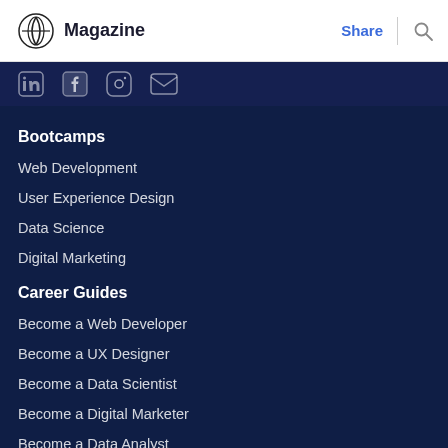Magazine | Share
[Figure (other): Social media icons: LinkedIn, Facebook, Instagram, Email]
Bootcamps
Web Development
User Experience Design
Data Science
Digital Marketing
Career Guides
Become a Web Developer
Become a UX Designer
Become a Data Scientist
Become a Digital Marketer
Become a Data Analyst
View All >